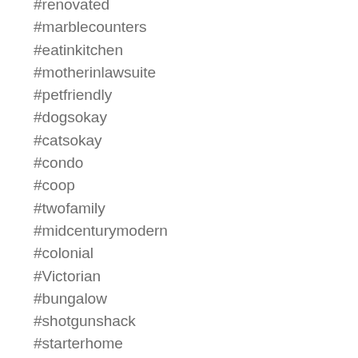#renovated
#marblecounters
#eatinkitchen
#motherinlawsuite
#petfriendly
#dogsokay
#catsokay
#condo
#coop
#twofamily
#midcenturymodern
#colonial
#Victorian
#bungalow
#shotgunshack
#starterhome
#cashcow
#caprate
#dreamhome